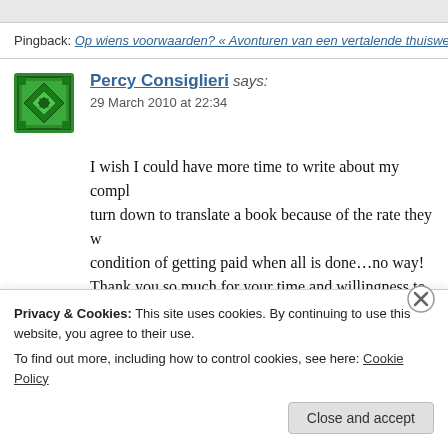Pingback: Op wiens voorwaarden? « Avonturen van een vertalende thuiswerk...
[Figure (illustration): Green geometric avatar/gravatar icon with diamond and cross pattern]
Percy Consiglieri says: 29 March 2010 at 22:34
I wish I could have more time to write about my compl... turn down to translate a book because of the rate they w... condition of getting paid when all is done…no way! Thank you so much for your time and willingness to he...
Log in to Reply
Privacy & Cookies: This site uses cookies. By continuing to use this website, you agree to their use.
To find out more, including how to control cookies, see here: Cookie Policy
Close and accept